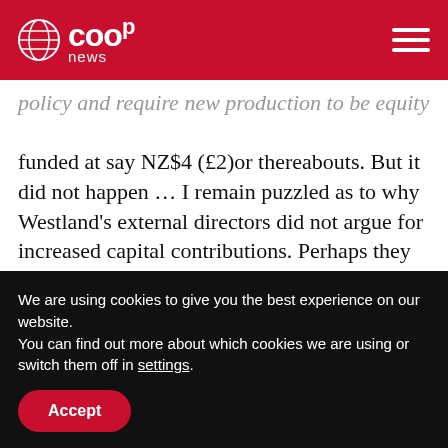Co-op News
policy and require new production to be equity funded at say NZ$4 (£2)or thereabouts. But it did not happen … I remain puzzled as to why Westland's external directors did not argue for increased capital contributions. Perhaps they did, but if so, they did not argue hard enough."
This failure presents lessons for the wider dairy co-op sector. He says: "The challenge is to balance
We are using cookies to give you the best experience on our website.
You can find out more about which cookies we are using or switch them off in settings.
Accept